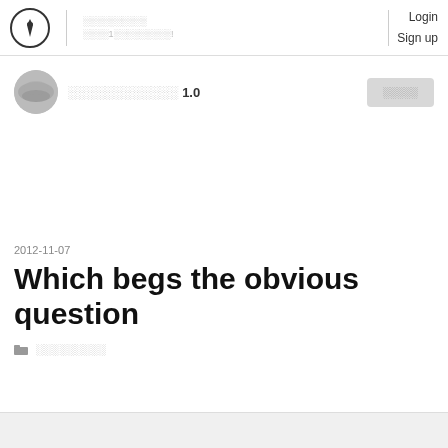░░░░░░░░░░ ░░░░1░░░░░░░░░! Login Sign up
░░░░░░░░░░░░ 1.0
░░░░░
2012-11-07
Which begs the obvious question
░░░░░░░░░